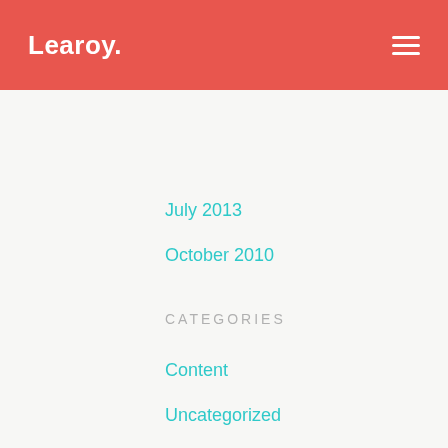Learoy.
July 2013
October 2010
CATEGORIES
Content
Uncategorized
META
Log in
Entries RSS
Comments RSS